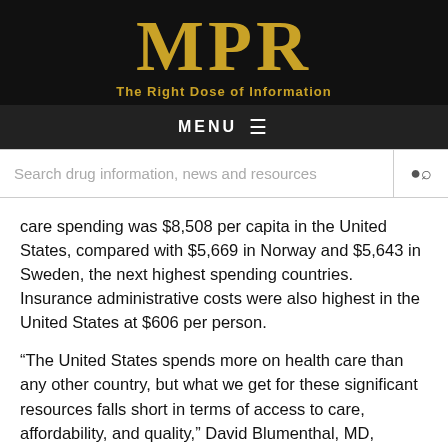MPR — The Right Dose of Information
MENU
Search drug information, news and resources
care spending was $8,508 per capita in the United States, compared with $5,669 in Norway and $5,643 in Sweden, the next highest spending countries. Insurance administrative costs were also highest in the United States at $606 per person.
“The United States spends more on health care than any other country, but what we get for these significant resources falls short in terms of access to care, affordability, and quality,” David Blumenthal, MD, president of The